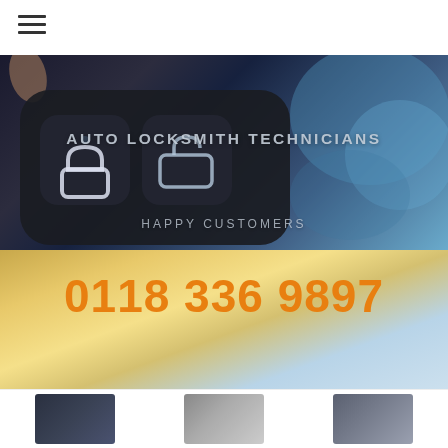[Figure (screenshot): Website screenshot for an auto locksmith service. Top white navigation bar with hamburger menu icon. Hero section with a dark background showing a close-up of a car key fob in the upper half, overlaid with text 'AUTO LOCKSMITH TECHNICIANS' and 'HAPPY CUSTOMERS'. Lower half has a blurred golden/warm-toned background with a large orange phone number '0118 336 9897'. Bottom of page shows start of thumbnail images row on white background.]
AUTO LOCKSMITH TECHNICIANS
HAPPY CUSTOMERS
0118 336 9897